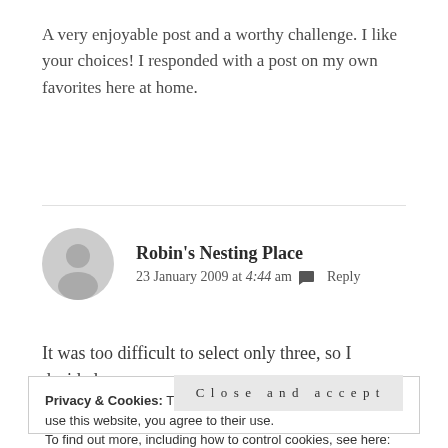A very enjoyable post and a worthy challenge. I like your choices! I responded with a post on my own favorites here at home.
Robin's Nesting Place
23 January 2009 at 4:44 am  Reply
It was too difficult to select only three, so I decided
Privacy & Cookies: This site uses cookies. By continuing to use this website, you agree to their use.
To find out more, including how to control cookies, see here: Privacy Policy

Close and accept